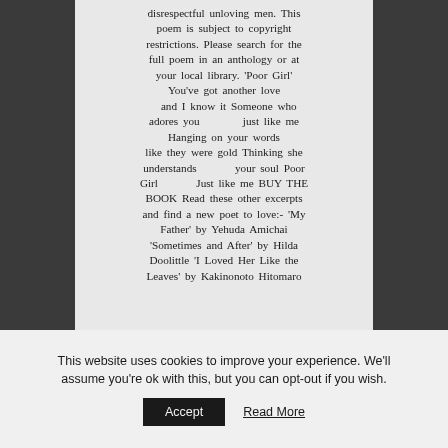disrespectful unloving men. This poem is subject to copyright restrictions. Please search for the full poem in an anthology or at your local library. 'Poor Girl' You've got another love and I know it Someone who adores you just like me Hanging on your words like they were gold Thinking she understands your soul Poor Girl Just like me BUY THE BOOK Read these other excerpts and find a new poet to love:- 'My Father' by Yehuda Amichai 'Sometimes and After' by Hilda Doolittle 'I Loved Her Like the Leaves' by Kakinonoto Hitomaro
This website uses cookies to improve your experience. We'll assume you're ok with this, but you can opt-out if you wish.
Accept
Read More